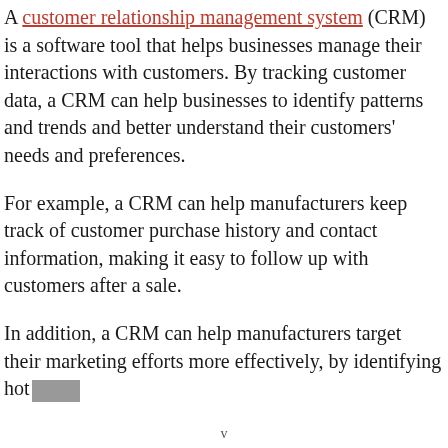A customer relationship management system (CRM) is a software tool that helps businesses manage their interactions with customers. By tracking customer data, a CRM can help businesses to identify patterns and trends and better understand their customers' needs and preferences.
For example, a CRM can help manufacturers keep track of customer purchase history and contact information, making it easy to follow up with customers after a sale.
In addition, a CRM can help manufacturers target their marketing efforts more effectively, by identifying hot...
v